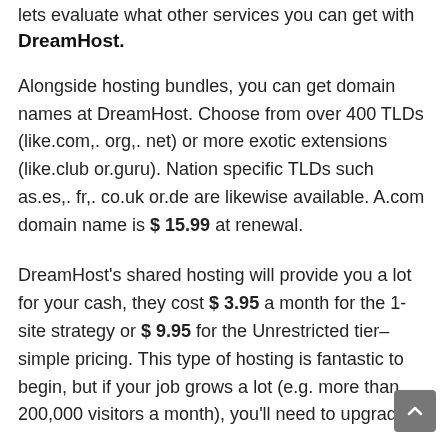lets evaluate what other services you can get with
DreamHost.
Alongside hosting bundles, you can get domain names at DreamHost. Choose from over 400 TLDs (like.com,. org,. net) or more exotic extensions (like.club or.guru). Nation specific TLDs such as.es,. fr,. co.uk or.de are likewise available. A.com domain name is $ 15.99 at renewal.
DreamHost's shared hosting will provide you a lot for your cash, they cost $ 3.95 a month for the 1-site strategy or $ 9.95 for the Unrestricted tier– simple pricing. This type of hosting is fantastic to begin, but if your job grows a lot (e.g. more than 200,000 visitors a month), you'll need to upgrade.
You can imagine a Virtual Personal Server (VPS) as a sha hosting server that has actually been divided into smaller